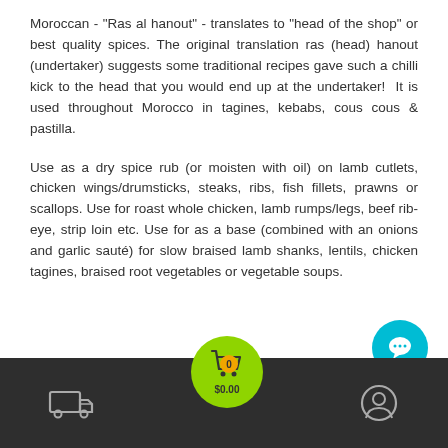Moroccan - "Ras al hanout" - translates to "head of the shop" or best quality spices. The original translation ras (head) hanout (undertaker) suggests some traditional recipes gave such a chilli kick to the head that you would end up at the undertaker!  It is used throughout Morocco in tagines, kebabs, cous cous & pastilla.
Use as a dry spice rub (or moisten with oil) on lamb cutlets, chicken wings/drumsticks, steaks, ribs, fish fillets, prawns or scallops. Use for roast whole chicken, lamb rumps/legs, beef rib-eye, strip loin etc. Use for as a base (combined with an onions and garlic sauté) for slow braised lamb shanks, lentils, chicken tagines, braised root vegetables or vegetable soups.
[Figure (screenshot): Mobile app navigation bar with delivery truck icon on left, shopping cart with green circular background and badge showing 0 and $0.00 in center, user profile icon on right. Teal chat bubble button in lower right. Dark grey background bar.]